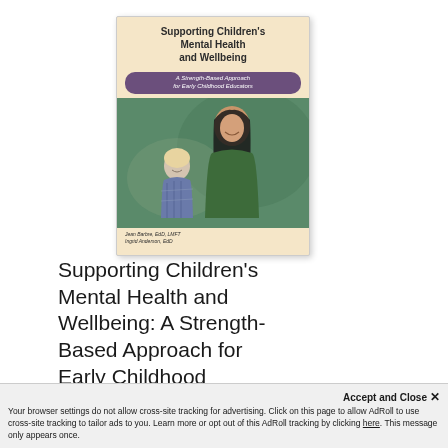[Figure (illustration): Book cover of 'Supporting Children's Mental Health and Wellbeing: A Strength-Based Approach for Early Childhood Educators' by Jean Barbre, EdD, LMFT and Ingrid Anderson, EdD. Cover shows a woman and young child interacting, with a warm beige background and purple subtitle band.]
Supporting Children's Mental Health and Wellbeing: A Strength-Based Approach for Early Childhood Educators
Jean Barbre, Ingrid Anderson
Accept and Close ✕
Your browser settings do not allow cross-site tracking for advertising. Click on this page to allow AdRoll to use cross-site tracking to tailor ads to you. Learn more or opt out of this AdRoll tracking by clicking here. This message only appears once.